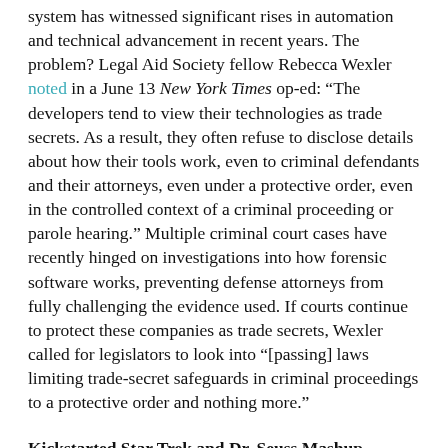system has witnessed significant rises in automation and technical advancement in recent years. The problem? Legal Aid Society fellow Rebecca Wexler noted in a June 13 New York Times op-ed: “The developers tend to view their technologies as trade secrets. As a result, they often refuse to disclose details about how their tools work, even to criminal defendants and their attorneys, even under a protective order, even in the controlled context of a criminal proceeding or parole hearing.” Multiple criminal court cases have recently hinged on investigations into how forensic software works, preventing defense attorneys from fully challenging the evidence used. If courts continue to protect these companies as trade secrets, Wexler called for legislators to look into “[passing] laws limiting trade-secret safeguards in criminal proceedings to a protective order and nothing more.”
Kickstarted Star Trek and Dr. Seuss Mashup Protected By Fair Use. This week, U.S. District Judge Janis Sammartino dismissed a lawsuit the Dr. Seuss estate filed against Comicmix’s Star Trek and Dr. Seuss